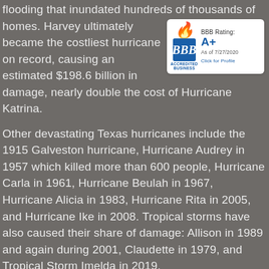flooding that inundated hundreds of thousands of homes. Harvey ultimately became the costliest hurricane on record, causing an estimated $198.6 billion in damage, nearly double the cost of Hurricane Katrina.
[Figure (logo): BBB Accredited Business badge showing BBB Rating: A+ As of 7/27/2020, Click for Profile]
Other devastating Texas hurricanes include the 1915 Galveston hurricane, Hurricane Audrey in 1957 which killed more than 600 people, Hurricane Carla in 1961, Hurricane Beulah in 1967, Hurricane Alicia in 1983, Hurricane Rita in 2005, and Hurricane Ike in 2008. Tropical storms have also caused their share of damage: Allison in 1989 and again during 2001, Claudette in 1979, and Tropical Storm Imelda in 2019.
There is no substantial physical barrier between Texas and the polar region. Although it is unusual, it is possible for arctic or polar air masses to penetrate Texas, as occurred during the February 13–17, 2021 North American winter storm. Usually,